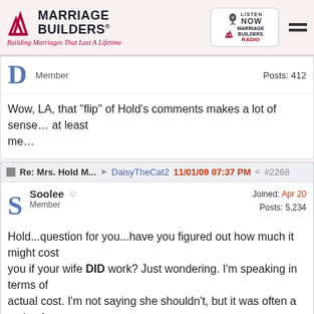[Figure (logo): Marriage Builders logo with red arrows and tagline 'Building Marriages That Last A Lifetime', plus Listen Now Marriage Builders Radio box and hamburger menu]
Member    Posts: 412
Wow, LA, that "flip" of Hold's comments makes a lot of sense... at least to me...
Re: Mrs. Hold M... → DaisyTheCat2   11/01/09 07:37 PM   #2268
Soolee  Member   Joined: Apr 20   Posts: 5,234
Hold...question for you...have you figured out how much it might cost you if your wife DID work? Just wondering. I'm speaking in terms of actual cost. I'm not saying she shouldn't, but it was often a topic of conversation when I was working at a place with a lot of young women, many quitting after they had their first child.